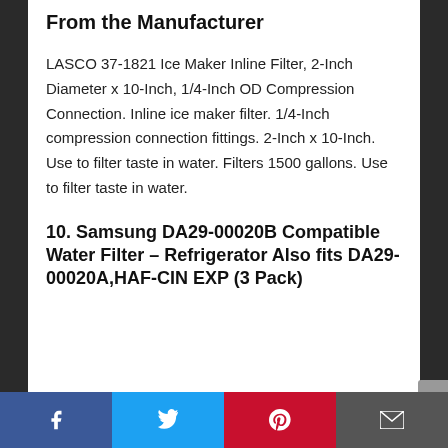From the Manufacturer
LASCO 37-1821 Ice Maker Inline Filter, 2-Inch Diameter x 10-Inch, 1/4-Inch OD Compression Connection. Inline ice maker filter. 1/4-Inch compression connection fittings. 2-Inch x 10-Inch. Use to filter taste in water. Filters 1500 gallons. Use to filter taste in water.
10. Samsung DA29-00020B Compatible Water Filter – Refrigerator Also fits DA29-00020A,HAF-CIN EXP (3 Pack)